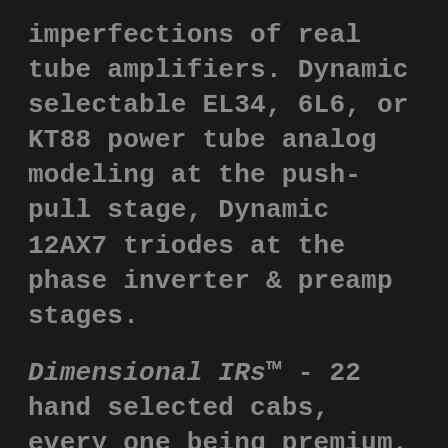imperfections of real tube amplifiers. Dynamic selectable EL34, 6L6, or KT88 power tube analog modeling at the push-pull stage, Dynamic 12AX7 triodes at the phase inverter & preamp stages.
Dimensional IRs™ - 22 hand selected cabs, every one being premium, album ready - no label necessary - by design forced to use your ears. Created with unorthodox techniques to achieve the utmost level of realism, the Otto method resulted from 3 years of exhaustive R & D. It's the thing that got us started in this